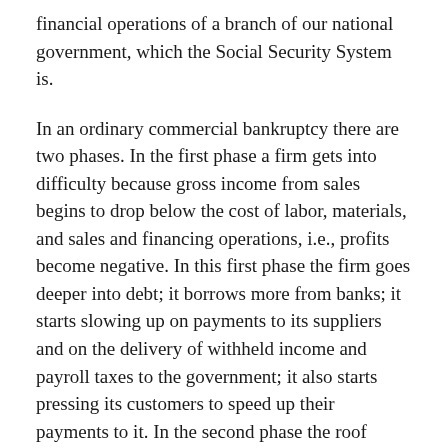financial operations of a branch of our national government, which the Social Security System is.
In an ordinary commercial bankruptcy there are two phases. In the first phase a firm gets into difficulty because gross income from sales begins to drop below the cost of labor, materials, and sales and financing operations, i.e., profits become negative. In this first phase the firm goes deeper into debt; it borrows more from banks; it starts slowing up on payments to its suppliers and on the delivery of withheld income and payroll taxes to the government; it also starts pressing its customers to speed up their payments to it. In the second phase the roof caves in and a sudden very big quantitative change for the worse occurs in the unfortunate firm's cash flow. The banks refuse new credits and demand repayment of old debt; suppliers refuse to ship materials except for cash; the government and other creditors suddenly press their